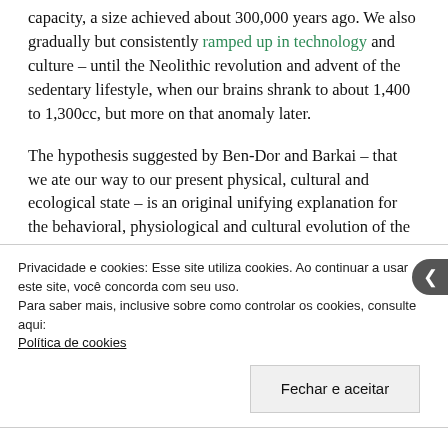capacity, a size achieved about 300,000 years ago. We also gradually but consistently ramped up in technology and culture – until the Neolithic revolution and advent of the sedentary lifestyle, when our brains shrank to about 1,400 to 1,300cc, but more on that anomaly later.
The hypothesis suggested by Ben-Dor and Barkai – that we ate our way to our present physical, cultural and ecological state – is an original unifying explanation for the behavioral, physiological and cultural evolution of the human species.
Privacidade e cookies: Esse site utiliza cookies. Ao continuar a usar este site, você concorda com seu uso.
Para saber mais, inclusive sobre como controlar os cookies, consulte aqui:
Política de cookies
Fechar e aceitar